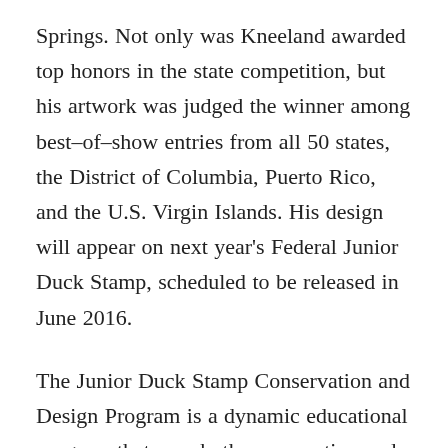Springs. Not only was Kneeland awarded top honors in the state competition, but his artwork was judged the winner among best–of–show entries from all 50 states, the District of Columbia, Puerto Rico, and the U.S. Virgin Islands. His design will appear on next year's Federal Junior Duck Stamp, scheduled to be released in June 2016.
The Junior Duck Stamp Conservation and Design Program is a dynamic educational program that uses both conservation and design principles to teach wetland habitat and waterfowl biology to students from kindergarten through high school. The program incorporates both scientific and wildlife management principles into an engaging visual arts curriculum. At the completion of their studies, participants complete a